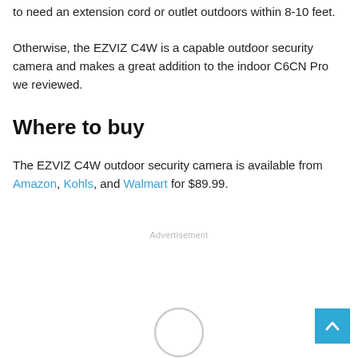to need an extension cord or outlet outdoors within 8-10 feet.
Otherwise, the EZVIZ C4W is a capable outdoor security camera and makes a great addition to the indoor C6CN Pro we reviewed.
Where to buy
The EZVIZ C4W outdoor security camera is available from Amazon, Kohls, and Walmart for $89.99.
Advertisement